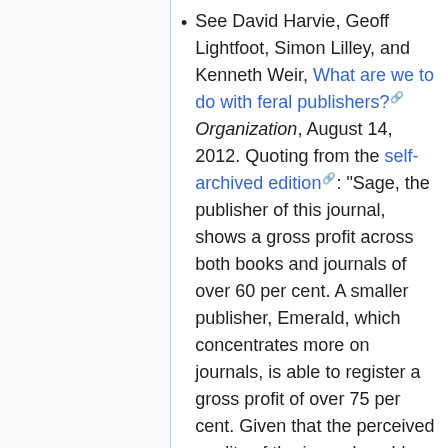See David Harvie, Geoff Lightfoot, Simon Lilley, and Kenneth Weir, What are we to do with feral publishers? Organization, August 14, 2012. Quoting from the self-archived edition: "Sage, the publisher of this journal, shows a gross profit across both books and journals of over 60 per cent. A smaller publisher, Emerald, which concentrates more on journals, is able to register a gross profit of over 75 per cent. Given that the perceived quality of the journal enables publishers to demand higher prices, and Emerald has relatively few highly ranked journals, it is likely that gross profits for journals for major